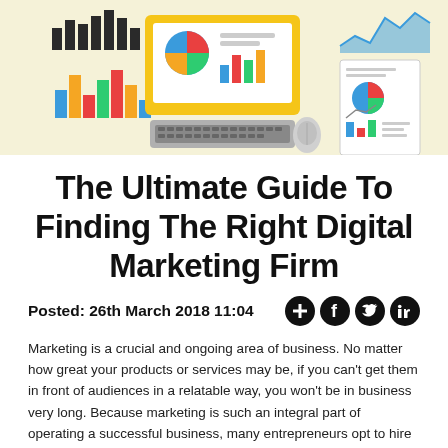[Figure (illustration): Hero banner illustration showing digital marketing analytics icons: bar charts, pie charts, a laptop/monitor with charts, a keyboard, mouse, document with charts, and area chart — all on a light yellow/cream background.]
The Ultimate Guide To Finding The Right Digital Marketing Firm
Posted: 26th March 2018 11:04
Marketing is a crucial and ongoing area of business. No matter how great your products or services may be, if you can't get them in front of audiences in a relatable way, you won't be in business very long. Because marketing is such an integral part of operating a successful business, many entrepreneurs opt to hire digital